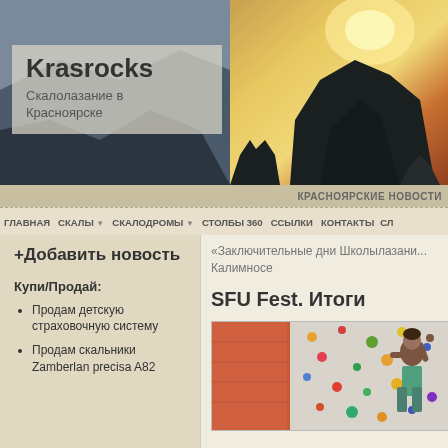[Figure (photo): Website header with sunset and rock silhouette photo]
Krasrocks
Скалолазание в Красноярске
КРАСНОЯРСКИЕ НОВОСТИ
ГЛАВНАЯ  СКАЛЫ  СКАЛОДРОМЫ  СТОЛБЫ 360  ССЫЛКИ  КОНТАКТЫ  СЛ
«Заключительные дни Школылазани... Калимносе
SFU Fest. Итоги
+Добавить новость
Купи/Продай:
Продам детскую страховочную систему
Продам скальники Zamberlan precisa A82
[Figure (photo): Photo of a child climbing on an indoor climbing wall with colorful holds]